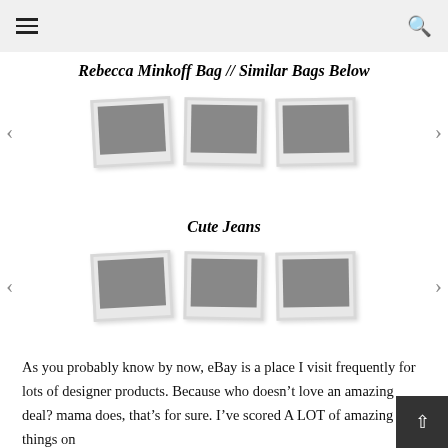navigation bar with hamburger menu and search icon
Rebecca Minkoff Bag // Similar Bags Below
[Figure (illustration): Carousel of three polaroid-style image placeholders with left and right navigation arrows for bags]
Cute Jeans
[Figure (illustration): Carousel of three polaroid-style image placeholders with left and right navigation arrows for jeans]
As you probably know by now, eBay is a place I visit frequently for lots of designer products. Because who doesn't love an amazing deal? mama does, that's for sure. I've scored A LOT of amazing things on